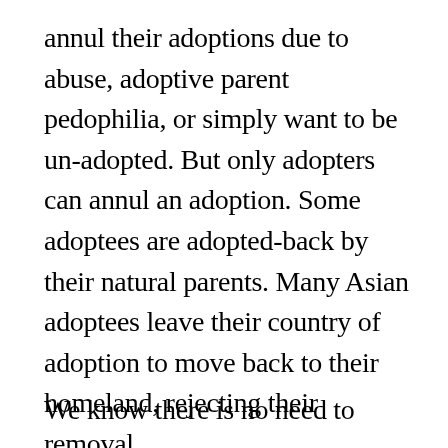annul their adoptions due to abuse, adoptive parent pedophilia, or simply want to be un-adopted. But only adopters can annul an adoption. Some adoptees are adopted-back by their natural parents. Many Asian adoptees leave their country of adoption to move back to their homeland, rejecting their removal.
We know there is no need to